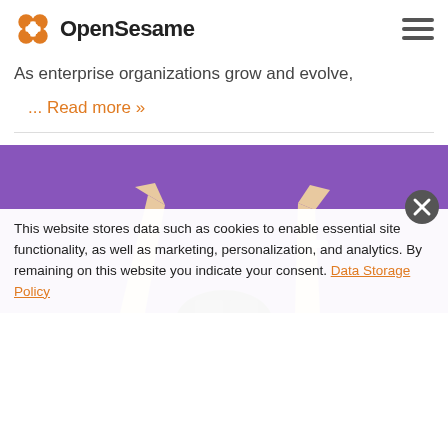OpenSesame
As enterprise organizations grow and evolve,
... Read more »
[Figure (photo): Person wearing a VR headset with both arms raised against a purple background]
This website stores data such as cookies to enable essential site functionality, as well as marketing, personalization, and analytics. By remaining on this website you indicate your consent. Data Storage Policy